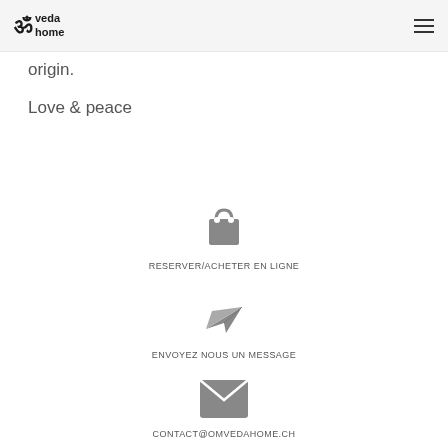om veda home
origin.
Love & peace
[Figure (illustration): Shopping bag icon (dark gray)]
RESERVER/ACHETER EN LIGNE
[Figure (illustration): Paper plane / send message icon (dark gray)]
ENVOYEZ NOUS UN MESSAGE
[Figure (illustration): Envelope / email icon (dark gray)]
CONTACT@OMVEDAHOME.CH